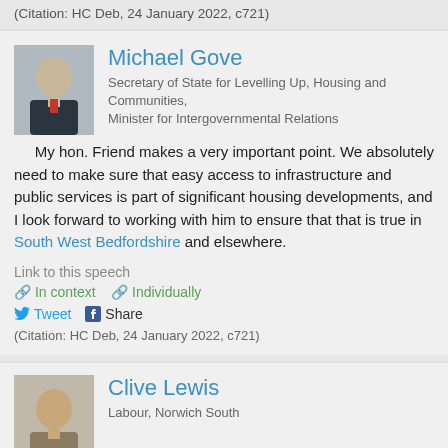(Citation: HC Deb, 24 January 2022, c721)
Michael Gove
Secretary of State for Levelling Up, Housing and Communities, Minister for Intergovernmental Relations
My hon. Friend makes a very important point. We absolutely need to make sure that easy access to infrastructure and public services is part of significant housing developments, and I look forward to working with him to ensure that that is true in South West Bedfordshire and elsewhere.
Link to this speech
In context  Individually
Tweet  Share
(Citation: HC Deb, 24 January 2022, c721)
Clive Lewis
Labour, Norwich South
In my city of Norwich, we have had long levelling up and more...